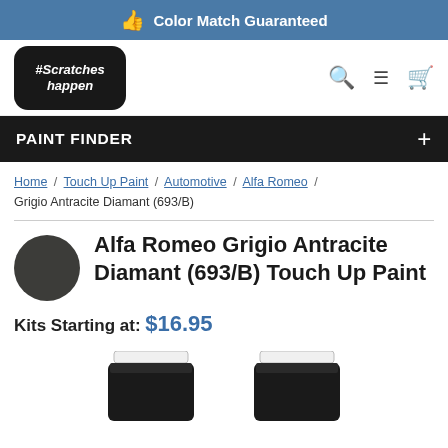Color Match Guaranteed
[Figure (logo): #ScratchesHappen brand logo with navigation icons (search, menu, cart)]
PAINT FINDER +
Home / Touch Up Paint / Automotive / Alfa Romeo / Grigio Antracite Diamant (693/B)
Alfa Romeo Grigio Antracite Diamant (693/B) Touch Up Paint
Kits Starting at: $16.95
[Figure (photo): Two paint touch-up bottles with black caps, partially visible at bottom of page]